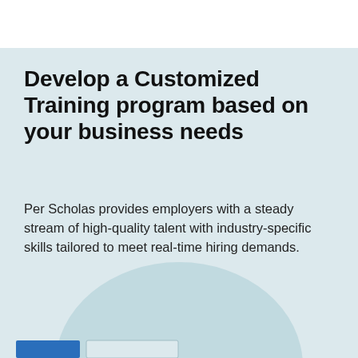Develop a Customized Training program based on your business needs
Per Scholas provides employers with a steady stream of high-quality talent with industry-specific skills tailored to meet real-time hiring demands.
[Figure (illustration): A large light blue-gray semicircle decorative element at the bottom center, with two rectangular bar shapes at the bottom left corner (one dark blue, one light/outlined).]